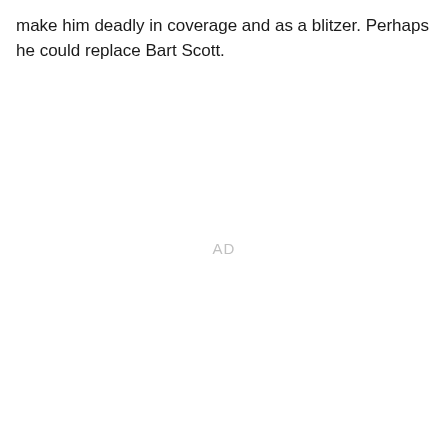make him deadly in coverage and as a blitzer. Perhaps he could replace Bart Scott.
AD